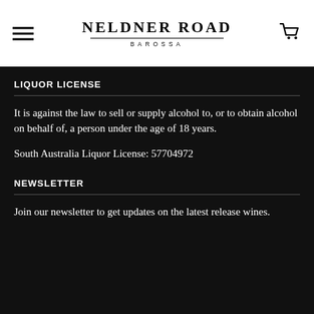NELDNER ROAD BAROSSA
LIQUOR LICENSE
It is against the law to sell or supply alcohol to, or to obtain alcohol on behalf of, a person under the age of 18 years.
South Australia Liquor License: 57704972
NEWSLETTER
Join our newsletter to get updates on the latest release wines.